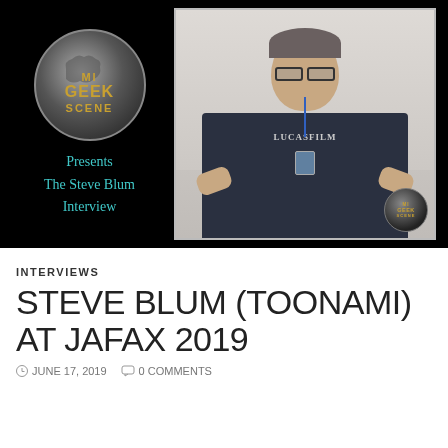[Figure (photo): Banner image with black background showing MI Geek Scene logo on the left with text 'Presents The Steve Blum Interview' in teal, and a photo of Steve Blum on the right wearing a Lucasfilm t-shirt and giving two thumbs up, with MI Geek Scene watermark in bottom right corner of photo.]
INTERVIEWS
STEVE BLUM (TOONAMI) AT JAFAX 2019
JUNE 17, 2019   0 COMMENTS